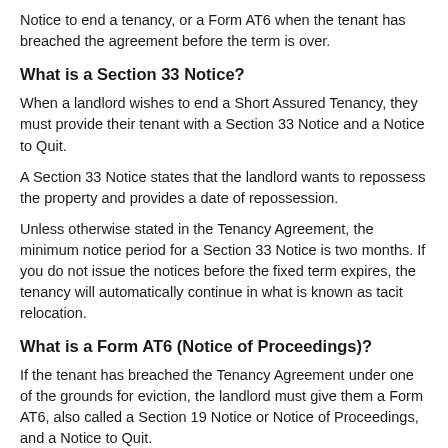Notice to end a tenancy, or a Form AT6 when the tenant has breached the agreement before the term is over.
What is a Section 33 Notice?
When a landlord wishes to end a Short Assured Tenancy, they must provide their tenant with a Section 33 Notice and a Notice to Quit.
A Section 33 Notice states that the landlord wants to repossess the property and provides a date of repossession.
Unless otherwise stated in the Tenancy Agreement, the minimum notice period for a Section 33 Notice is two months. If you do not issue the notices before the fixed term expires, the tenancy will automatically continue in what is known as tacit relocation.
What is a Form AT6 (Notice of Proceedings)?
If the tenant has breached the Tenancy Agreement under one of the grounds for eviction, the landlord must give them a Form AT6, also called a Section 19 Notice or Notice of Proceedings, and a Notice to Quit.
The Form AT6 states the grounds for eviction and the landlord's intention to start legal proceedings to gain